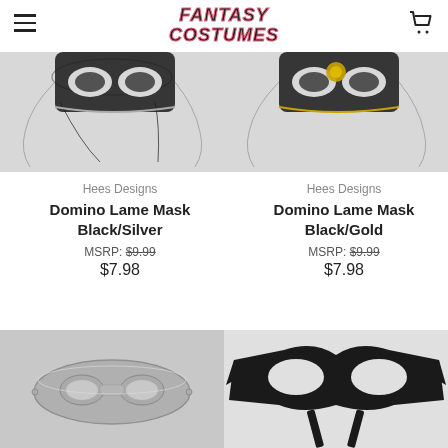Fantasy Costumes
[Figure (photo): Top portion of a domino lame mask Black/Silver product on a white background, showing elastic string]
[Figure (photo): Top portion of a domino lame mask Black/Gold product on a white background, showing elastic string with gold clasp]
Hees Designs
Domino Lame Mask Black/Silver
MSRP: $9.99
$7.98
Hees Designs
Domino Lame Mask Black/Gold
MSRP: $9.99
$7.98
[Figure (photo): Silver plastic domino mask on a light gray background]
[Figure (photo): Black fabric domino mask on a white background]